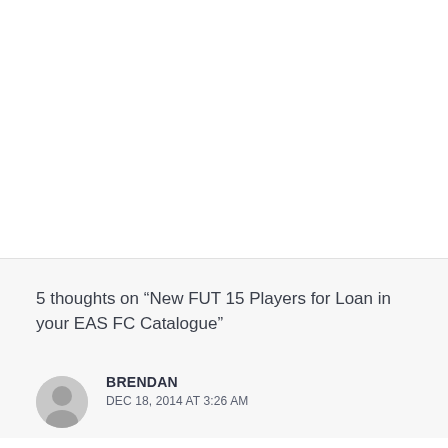5 thoughts on “New FUT 15 Players for Loan in your EAS FC Catalogue”
BRENDAN
DEC 18, 2014 AT 3:26 AM